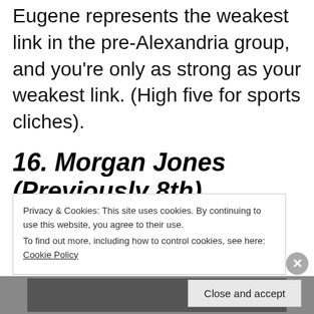Eugene represents the weakest link in the pre-Alexandria group, and you're only as strong as your weakest link. (High five for sports cliches).
16. Morgan Jones (Previously 8th)
Privacy & Cookies: This site uses cookies. By continuing to use this website, you agree to their use.
To find out more, including how to control cookies, see here: Cookie Policy
Close and accept